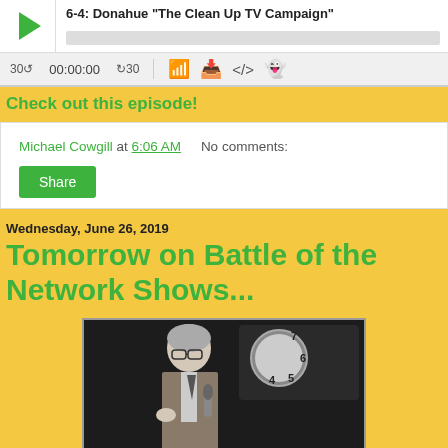[Figure (screenshot): Podcast player widget showing episode '6-4: Donahue "The Clean Up TV Campaign"' with play button, progress bar, time display 00:00:00, skip controls, and media icons]
Check out this episode!
Michael Cowgill at 6:06 AM   No comments:
Share
Wednesday, June 26, 2019
Tomorrow on Battle of the Network Shows...
[Figure (photo): Black and white or dark photo of a gray-haired man in glasses and suit holding a microphone, with a clock visible in the background showing numbers 7 6 5 4]